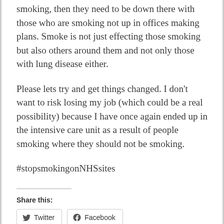smoking, then they need to be down there with those who are smoking not up in offices making plans. Smoke is not just effecting those smoking but also others around them and not only those with lung disease either.
Please lets try and get things changed. I don't want to risk losing my job (which could be a real possibility) because I have once again ended up in the intensive care unit as a result of people smoking where they should not be smoking.
#stopsmokingonNHSsites
Share this: